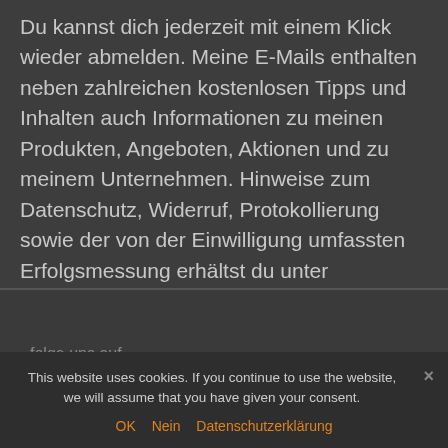Du kannst dich jederzeit mit einem Klick wieder abmelden. Meine E-Mails enthalten neben zahlreichen kostenlosen Tipps und Inhalten auch Informationen zu meinen Produkten, Angeboten, Aktionen und zu meinem Unternehmen. Hinweise zum Datenschutz, Widerruf, Protokollierung sowie der von der Einwilligung umfassten Erfolgsmessung erhältst du unter Datenschutz.
folge uns auf
This website uses cookies. If you continue to use the website, we will assume that you have given your consent.
OK   Nein   Datenschutzerklärung